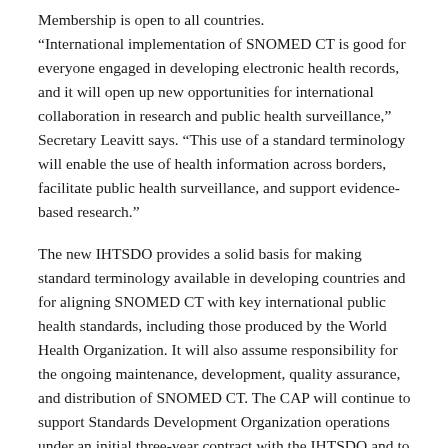Membership is open to all countries. “International implementation of SNOMED CT is good for everyone engaged in developing electronic health records, and it will open up new opportunities for international collaboration in research and public health surveillance,” Secretary Leavitt says. “This use of a standard terminology will enable the use of health information across borders, facilitate public health surveillance, and support evidence-based research.”
The new IHTSDO provides a solid basis for making standard terminology available in developing countries and for aligning SNOMED CT with key international public health standards, including those produced by the World Health Organization. It will also assume responsibility for the ongoing maintenance, development, quality assurance, and distribution of SNOMED CT. The CAP will continue to support Standards Development Organization operations under an initial three-year contract with the IHTSDO and to provide SNOMED-related products and services as a licensee of the terminology.